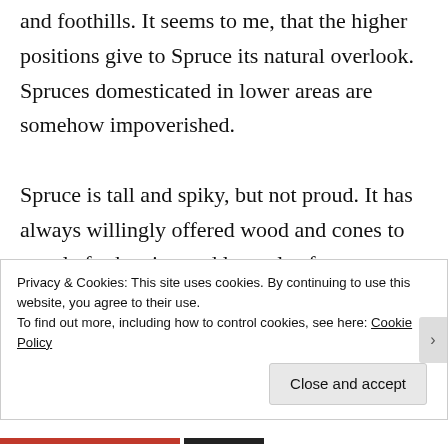and foothills. It seems to me, that the higher positions give to Spruce its natural overlook. Spruces domesticated in lower areas are somehow impoverished.

Spruce is tall and spiky, but not proud. It has always willingly offered wood and cones to people for heating and later also for
Privacy & Cookies: This site uses cookies. By continuing to use this website, you agree to their use.
To find out more, including how to control cookies, see here: Cookie Policy